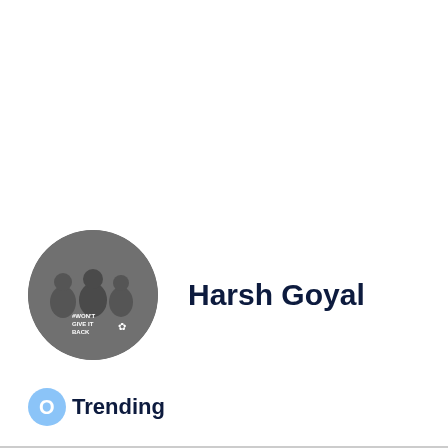[Figure (photo): Circular profile avatar with dark grey background showing three people with text '#WON'T GIVE IT BACK' overlaid]
Harsh Goyal
[Figure (logo): Blue circle icon resembling a trending/Q marker]
Trending